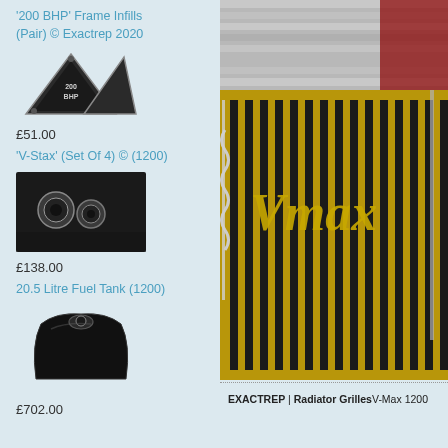'200 BHP' Frame Infills (Pair) © Exactrep 2020
[Figure (photo): Two triangular '200 BHP' frame infill badges shown side by side]
£51.00
'V-Stax' (Set Of 4) © (1200)
[Figure (photo): Close-up photo of V-Stax exhaust parts on motorcycle]
£138.00
20.5 Litre Fuel Tank (1200)
[Figure (photo): Large radiator grille photo with V-Max branding visible]
[Figure (photo): Black 20.5 litre fuel tank product photo]
£702.00
EXACTREP | Radiator Grilles V-Max 1200